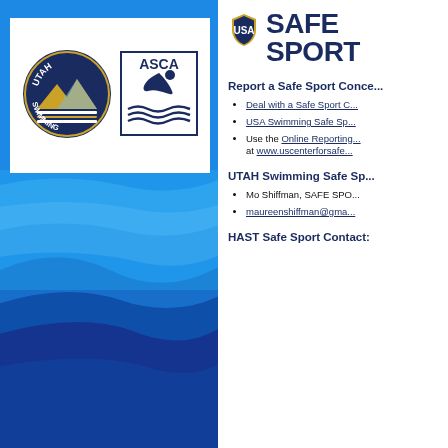[Figure (logo): Utah Swimming circular logo with mountain and lanes graphic on dark blue background]
[Figure (logo): ASCA logo with swimmer figure and waves in blue, rectangular border]
[Figure (logo): USA Swimming Safe Sport shield/badge icon]
SAFE SPORT
Report a Safe Sport Conce...
Deal with a Safe Sport C...
USA Swimming Safe Sp...
Use the Online Reporting... at www.uscenterforsafe...
UTAH Swimming Safe Sp...
Mo Shiffman, SAFE SPO...
maureenshiffman@gma...
HAST Safe Sport Contact: